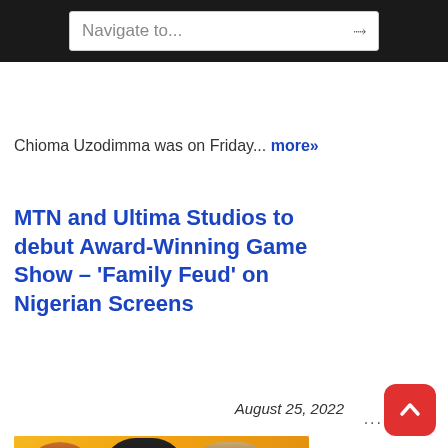Navigate to...
Chioma Uzodimma was on Friday... more»
MTN and Ultima Studios to debut Award-Winning Game Show – ‘Family Feud’ on Nigerian Screens
August 25, 2022
[Figure (photo): Three women standing in front of a Family Feud game show backdrop with a yellow/orange banner]
...